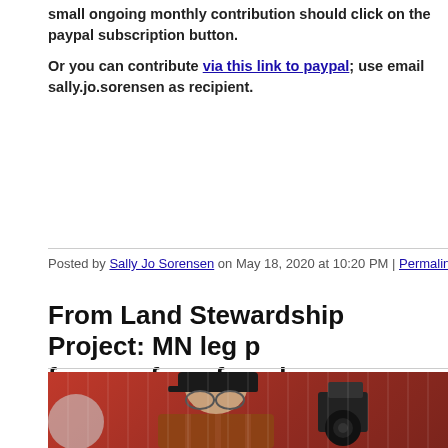small ongoing monthly contribution should click on the paypal subscription button.
Or you can contribute via this link to paypal; use email sally.jo.sorensen as recipient.
Posted by Sally Jo Sorensen on May 18, 2020 at 10:20 PM | Permalink | Comments (0)
From Land Stewardship Project: MN leg p... farmers from foreclosure through harves...
[Figure (photo): An older man wearing a black cap reading 'Our Farm Bill' and a plaid shirt, standing in front of a red corrugated metal wall, with a camera visible to his right.]